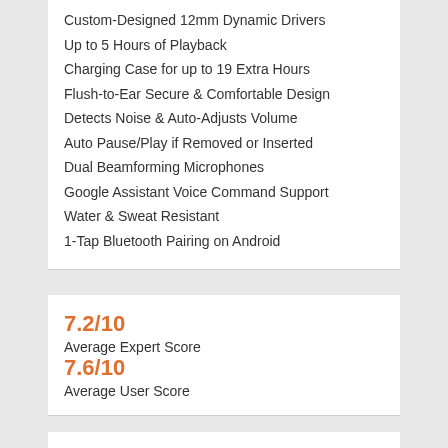Custom-Designed 12mm Dynamic Drivers
Up to 5 Hours of Playback
Charging Case for up to 19 Extra Hours
Flush-to-Ear Secure & Comfortable Design
Detects Noise & Auto-Adjusts Volume
Auto Pause/Play if Removed or Inserted
Dual Beamforming Microphones
Google Assistant Voice Command Support
Water & Sweat Resistant
1-Tap Bluetooth Pairing on Android
7.2/10
Average Expert Score
7.6/10
Average User Score